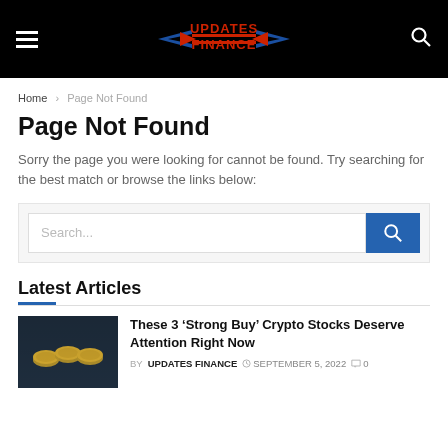UPDATES FINANCE
Home > Page Not Found
Page Not Found
Sorry the page you were looking for cannot be found. Try searching for the best match or browse the links below:
Latest Articles
These 3 ‘Strong Buy’ Crypto Stocks Deserve Attention Right Now BY UPDATES FINANCE ⊙ SEPTEMBER 5, 2022 ☐ 0